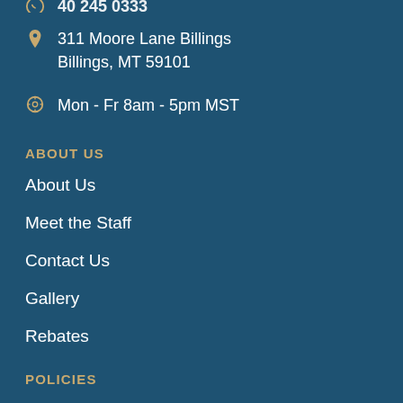311 Moore Lane Billings Billings, MT 59101
Mon - Fr 8am - 5pm MST
ABOUT US
About Us
Meet the Staff
Contact Us
Gallery
Rebates
POLICIES
FAQ
Sitemap